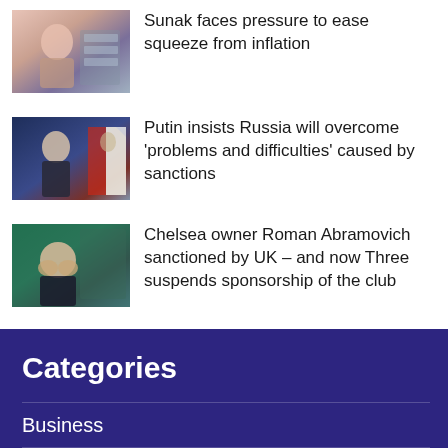[Figure (photo): Person in store/shopping context, partially visible at top]
Sunak faces pressure to ease squeeze from inflation
[Figure (photo): Putin seated at a desk with Russian flag in background]
Putin insists Russia will overcome 'problems and difficulties' caused by sanctions
[Figure (photo): Roman Abramovich with hands on face, seated, green background]
Chelsea owner Roman Abramovich sanctioned by UK – and now Three suspends sponsorship of the club
Categories
Business
Entertainment